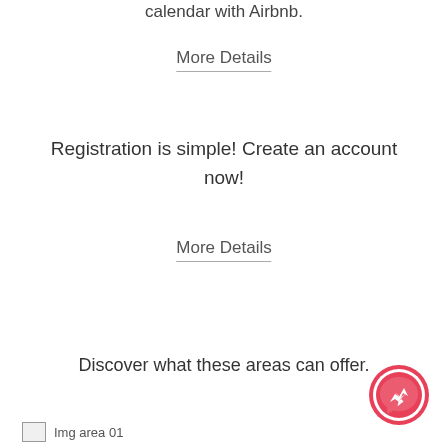calendar with Airbnb.
More Details
Registration is simple! Create an account now!
More Details
Discover what these areas can offer.
[Figure (illustration): Messenger chat button (circular pink/red icon with lightning bolt)]
[Figure (illustration): Img area 01 placeholder image]